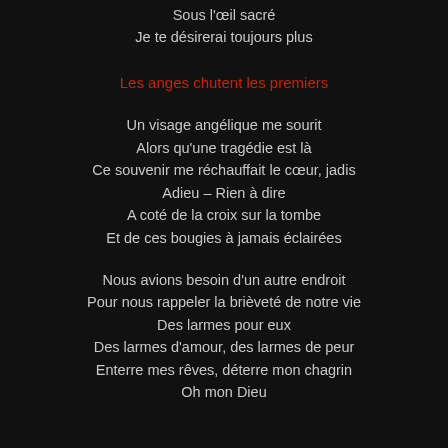Sous l'œil sacré
Je te désirerai toujours plus
Les anges chutent les premiers
Un visage angélique me sourit
Alors qu'une tragédie est là
Ce souvenir me réchauffait le cœur, jadis
Adieu – Rien à dire
A coté de la croix sur la tombe
Et de ces bougies à jamais éclairées
Nous avions besoin d'un autre endroit
Pour nous rappeler la brièveté de notre vie
Des larmes pour eux
Des larmes d'amour, des larmes de peur
Enterre mes rêves, déterre mon chagrin
Oh mon Dieu